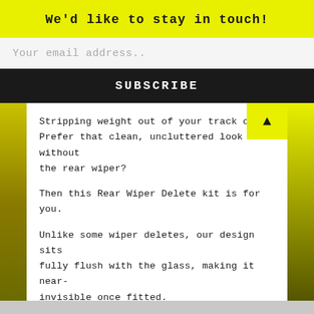We'd like to stay in touch!
Your email address..
SUBSCRIBE
Stripping weight out of your track car? Prefer that clean, uncluttered look without the rear wiper?
Then this Rear Wiper Delete kit is for you.
Unlike some wiper deletes, our design sits fully flush with the glass, making it near-invisible once fitted.
The single-piece design is CNC-machined from Type-6061 Billet Aluminium, with the